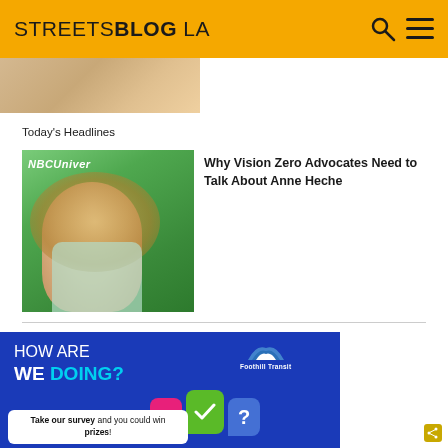STREETSBLOG LA
Today's Headlines
[Figure (photo): Thumbnail photo of Anne Heche at NBCUniversal event, smiling, with wavy blonde hair, green background with NBCUniver logo partially visible]
Why Vision Zero Advocates Need to Talk About Anne Heche
[Figure (infographic): Foothill Transit advertisement on blue background. Text reads HOW ARE WE DOING? with Foothill Transit logo. Chat bubbles with !, checkmark, and ? icons. Text: Take our survey and you could win prizes! with a CLICK HERE button.]